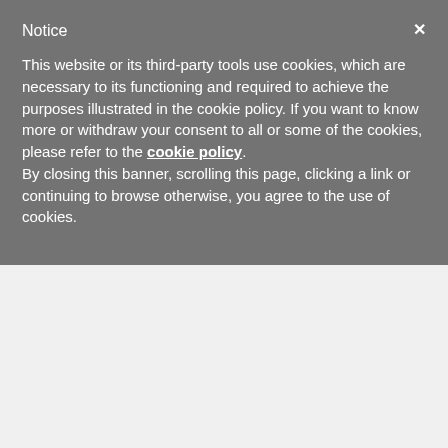Notice
This website or its third-party tools use cookies, which are necessary to its functioning and required to achieve the purposes illustrated in the cookie policy. If you want to know more or withdraw your consent to all or some of the cookies, please refer to the cookie policy. By closing this banner, scrolling this page, clicking a link or continuing to browse otherwise, you agree to the use of cookies.
Dover